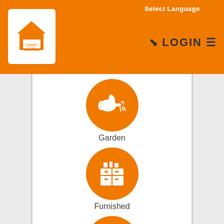Select Language
[Figure (screenshot): App navigation bar with LOGIN button and hamburger menu icon, and house logo on left]
[Figure (infographic): Orange circle icon with watering can symbol representing Garden]
Garden
[Figure (infographic): Orange circle icon with furniture/dresser symbol representing Furnished]
Furnished
[Figure (infographic): Orange circle icon with smartphone/wifi symbol representing Wireless Internet]
Wireless Internet
[Figure (infographic): Orange circle icon with TV symbol (partially visible)]